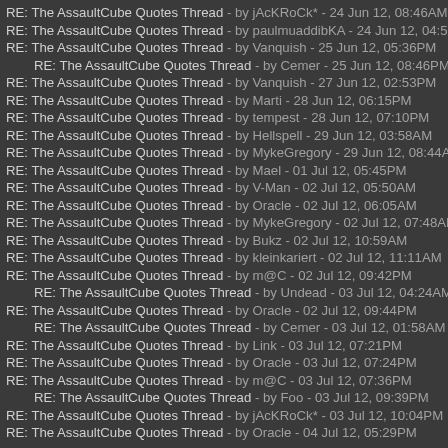RE: The AssaultCube Quotes Thread - by jAcKRoCk* - 24 Jun 12, 08:46AM
RE: The AssaultCube Quotes Thread - by paulmuaddibKA - 24 Jun 12, 04:57PM
RE: The AssaultCube Quotes Thread - by Vanquish - 25 Jun 12, 05:36PM
RE: The AssaultCube Quotes Thread - by Cemer - 25 Jun 12, 08:46PM
RE: The AssaultCube Quotes Thread - by Vanquish - 27 Jun 12, 02:53PM
RE: The AssaultCube Quotes Thread - by Marti - 28 Jun 12, 06:15PM
RE: The AssaultCube Quotes Thread - by tempest - 28 Jun 12, 07:10PM
RE: The AssaultCube Quotes Thread - by Hellspell - 29 Jun 12, 03:58AM
RE: The AssaultCube Quotes Thread - by MykeGregory - 29 Jun 12, 08:44AM
RE: The AssaultCube Quotes Thread - by Mael - 01 Jul 12, 05:45PM
RE: The AssaultCube Quotes Thread - by V-Man - 02 Jul 12, 05:50AM
RE: The AssaultCube Quotes Thread - by Oracle - 02 Jul 12, 06:05AM
RE: The AssaultCube Quotes Thread - by MykeGregory - 02 Jul 12, 07:48AM
RE: The AssaultCube Quotes Thread - by Bukz - 02 Jul 12, 10:59AM
RE: The AssaultCube Quotes Thread - by kleinkariert - 02 Jul 12, 11:11AM
RE: The AssaultCube Quotes Thread - by m@C - 02 Jul 12, 09:42PM
RE: The AssaultCube Quotes Thread - by Undead - 03 Jul 12, 04:24AM
RE: The AssaultCube Quotes Thread - by Oracle - 02 Jul 12, 09:44PM
RE: The AssaultCube Quotes Thread - by Cemer - 03 Jul 12, 01:58AM
RE: The AssaultCube Quotes Thread - by Link - 03 Jul 12, 07:21PM
RE: The AssaultCube Quotes Thread - by Oracle - 03 Jul 12, 07:24PM
RE: The AssaultCube Quotes Thread - by m@C - 03 Jul 12, 07:36PM
RE: The AssaultCube Quotes Thread - by Foo - 03 Jul 12, 09:39PM
RE: The AssaultCube Quotes Thread - by jAcKRoCk* - 03 Jul 12, 10:04PM
RE: The AssaultCube Quotes Thread - by Oracle - 04 Jul 12, 05:29PM